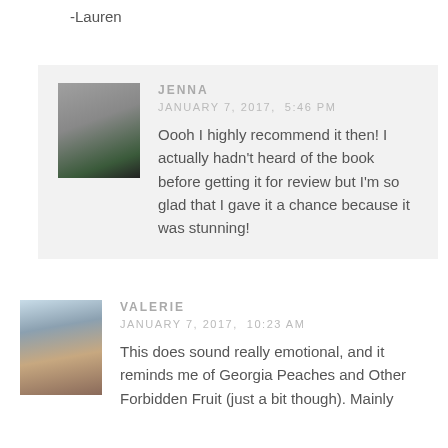-Lauren
JENNA
JANUARY 7, 2017, 5:46 PM
Oooh I highly recommend it then! I actually hadn't heard of the book before getting it for review but I'm so glad that I gave it a chance because it was stunning!
VALERIE
JANUARY 7, 2017, 10:23 AM
This does sound really emotional, and it reminds me of Georgia Peaches and Other Forbidden Fruit (just a bit though). Mainly